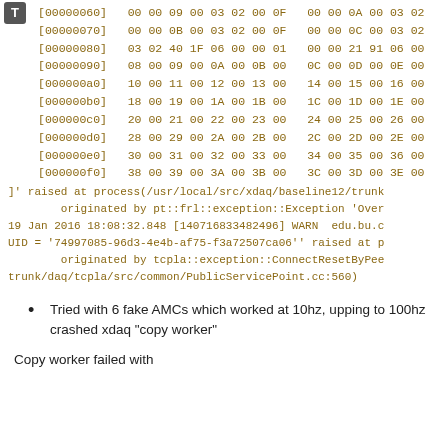[00000060]   00 00 09 00 03 02 00 0F   00 00 0A 00 03 02
[00000070]   00 00 0B 00 03 02 00 0F   00 00 0C 00 03 02
[00000080]   03 02 40 1F 06 00 00 01   00 00 21 91 06 00
[00000090]   08 00 09 00 0A 00 0B 00   0C 00 0D 00 0E 00
[000000a0]   10 00 11 00 12 00 13 00   14 00 15 00 16 00
[000000b0]   18 00 19 00 1A 00 1B 00   1C 00 1D 00 1E 00
[000000c0]   20 00 21 00 22 00 23 00   24 00 25 00 26 00
[000000d0]   28 00 29 00 2A 00 2B 00   2C 00 2D 00 2E 00
[000000e0]   30 00 31 00 32 00 33 00   34 00 35 00 36 00
[000000f0]   38 00 39 00 3A 00 3B 00   3C 00 3D 00 3E 00
]' raised at process(/usr/local/src/xdaq/baseline12/trunk
        originated by pt::frl::exception::Exception 'Over
19 Jan 2016 18:08:32.848 [140716833482496] WARN  edu.bu.c
UID = '74997085-96d3-4e4b-af75-f3a72507ca06'' raised at p
        originated by tcpla::exception::ConnectResetByPee
trunk/daq/tcpla/src/common/PublicServicePoint.cc:560)
Tried with 6 fake AMCs which worked at 10hz, upping to 100hz crashed xdaq "copy worker"
Copy worker failed with